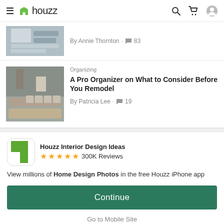houzz
By Annie Thornton · 83
Organizing
A Pro Organizer on What to Consider Before You Remodel
By Patricia Lee · 19
Houzz Interior Design Ideas
★★★★★ 300K Reviews
View millions of Home Design Photos in the free Houzz iPhone app
Continue
Go to Mobile Site